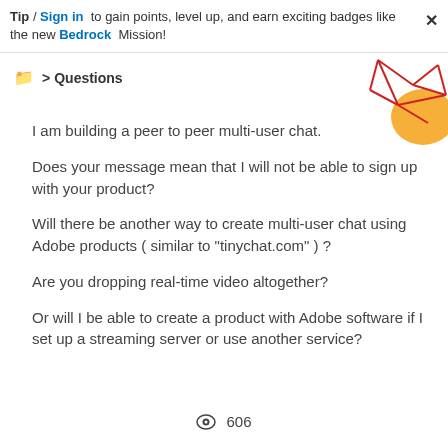Tip / Sign in to gain points, level up, and earn exciting badges like the new Bedrock Mission!
📁 > Questions
[Figure (illustration): Decorative geometric network graphic with red lines and orange shapes in the top-right corner]
I am building a peer to peer multi-user chat.
Does your message mean that I will not be able to sign up with your product?
Will there be another way to create multi-user chat using Adobe products ( similar to "tinychat.com" ) ?
Are you dropping real-time video altogether?
Or will I be able to create a product with Adobe software if I set up a streaming server or use another service?
👁 606